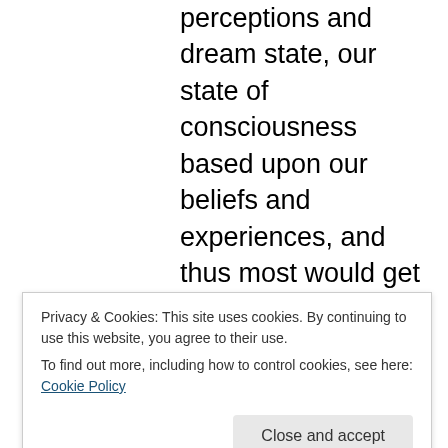perceptions and dream state, our state of consciousness based upon our beliefs and experiences, and thus most would get stuck in the realm of illusions, creating exactly what they wanted, until they got bored and were ready for incarnation.
I personally, think that multiple dimensions are all part of the dream-state, part of the matrix reality, in which we need to evolve from and transcend into collective experience dark matter, back to Goddess imprint of timeless and pure
Privacy & Cookies: This site uses cookies. By continuing to use this website, you agree to their use.
To find out more, including how to control cookies, see here: Cookie Policy
we can journey back to our origins, back to